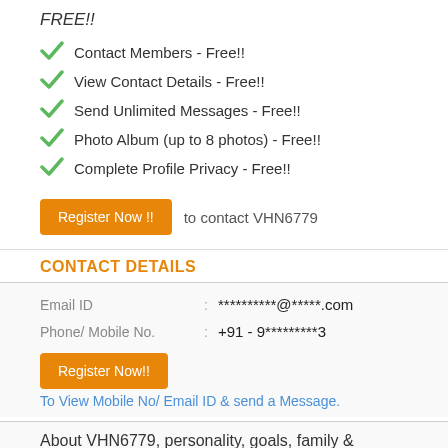FREE!!
Contact Members - Free!!
View Contact Details - Free!!
Send Unlimited Messages - Free!!
Photo Album (up to 8 photos) - Free!!
Complete Profile Privacy - Free!!
Register Now !! to contact VHN6779
CONTACT DETAILS
| Field | Value |
| --- | --- |
| Email ID | **********@*****.com |
| Phone/ Mobile No. | +91 - 9*********3 |
Register Now!! To View Mobile No/ Email ID & send a Message.
About VHN6779, personality, goals, family &